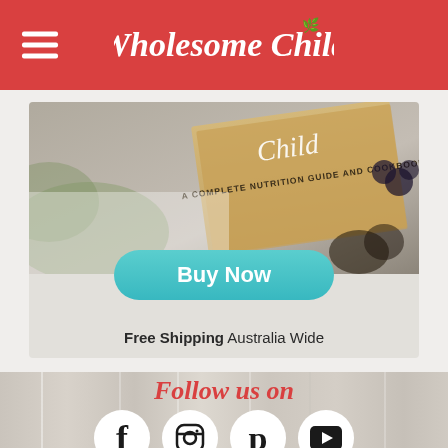[Figure (screenshot): Wholesome Child website screenshot showing red header with logo and hamburger menu, book promo with Buy Now button and Free Shipping text, and social media follow section with wood background]
Wholesome Child
Buy Now
Free Shipping Australia Wide
Follow us on